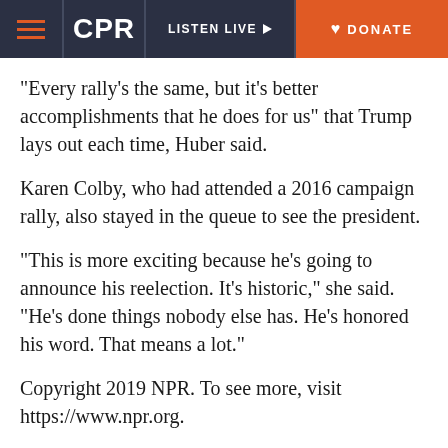CPR | LISTEN LIVE | DONATE
“Every rally’s the same, but it’s better accomplishments that he does for us” that Trump lays out each time, Huber said.
Karen Colby, who had attended a 2016 campaign rally, also stayed in the queue to see the president.
“This is more exciting because he’s going to announce his reelection. It’s historic,” she said. “He’s done things nobody else has. He’s honored his word. That means a lot.”
Copyright 2019 NPR. To see more, visit https://www.npr.org.